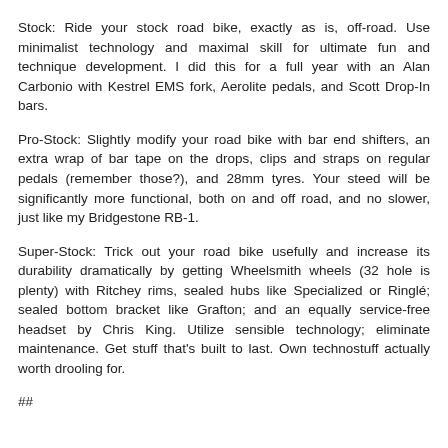Stock: Ride your stock road bike, exactly as is, off-road. Use minimalist technology and maximal skill for ultimate fun and technique development. I did this for a full year with an Alan Carbonio with Kestrel EMS fork, Aerolite pedals, and Scott Drop-In bars.
Pro-Stock: Slightly modify your road bike with bar end shifters, an extra wrap of bar tape on the drops, clips and straps on regular pedals (remember those?), and 28mm tyres. Your steed will be significantly more functional, both on and off road, and no slower, just like my Bridgestone RB-1.
Super-Stock: Trick out your road bike usefully and increase its durability dramatically by getting Wheelsmith wheels (32 hole is plenty) with Ritchey rims, sealed hubs like Specialized or Ringleé; sealed bottom bracket like Grafton; and an equally service-free headset by Chris King. Utilize sensible technology; eliminate maintenance. Get stuff that's built to last. Own technostuff actually worth drooling for.
##